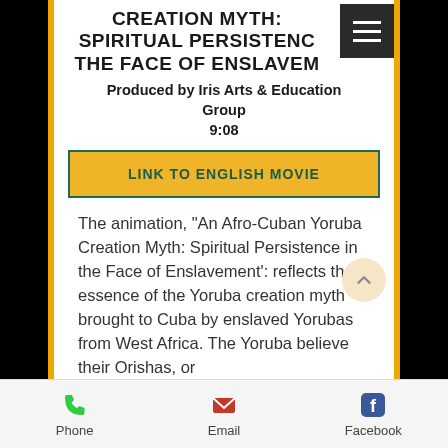CREATION MYTH: SPIRITUAL PERSISTENCE IN THE FACE OF ENSLAVEMENT
Produced by Iris Arts & Education Group
9:08
LINK TO ENGLISH MOVIE
The animation, "An Afro-Cuban Yoruba Creation Myth: Spiritual Persistence in the Face of Enslavement': reflects the essence of the Yoruba creation myth brought to Cuba by enslaved Yorubas from West Africa. The Yoruba believe their Orishas, or
Phone  Email  Facebook